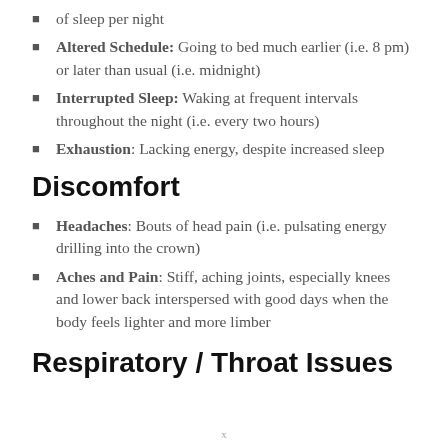of sleep per night
Altered Schedule: Going to bed much earlier (i.e. 8 pm) or later than usual (i.e. midnight)
Interrupted Sleep: Waking at frequent intervals throughout the night (i.e. every two hours)
Exhaustion: Lacking energy, despite increased sleep
Discomfort
Headaches: Bouts of head pain (i.e. pulsating energy drilling into the crown)
Aches and Pain: Stiff, aching joints, especially knees and lower back interspersed with good days when the body feels lighter and more limber
Respiratory / Throat Issues
x